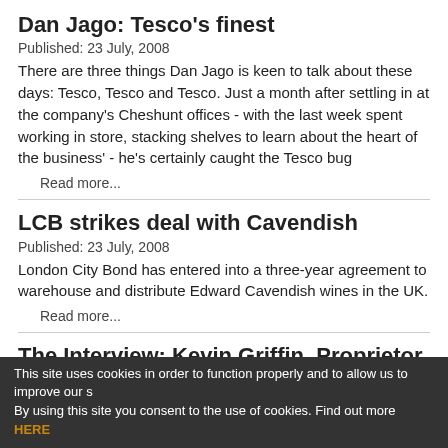Dan Jago: Tesco's finest
Published:  23 July, 2008
There are three things Dan Jago is keen to talk about these days: Tesco, Tesco and Tesco. Just a month after settling in at the company's Cheshunt offices - with the last week spent working in store, stacking shelves to learn about the heart of the business' - he's certainly caught the Tesco bug
Read more...
LCB strikes deal with Cavendish
Published:  23 July, 2008
London City Bond has entered into a three-year agreement to warehouse and distribute Edward Cavendish wines in the UK.
Read more...
The Interview: Kevin Griffin, Proprietor, Maison du
This site uses cookies in order to function properly and to allow us to improve our s By using this site you consent to the use of cookies. Find out more HERE